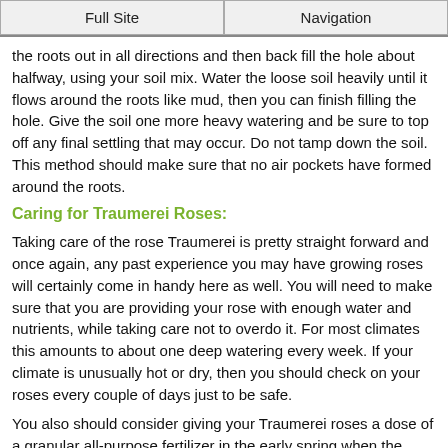Full Site | Navigation
the roots out in all directions and then back fill the hole about halfway, using your soil mix.  Water the loose soil heavily until it flows around the roots like mud, then you can finish filling the hole.  Give the soil one more heavy watering and be sure to top off any final settling that may occur.  Do not tamp down the soil.  This method should make sure that no air pockets have formed around the roots.
Caring for Traumerei Roses:
Taking care of the rose Traumerei is pretty straight forward and once again, any past experience you may have growing roses will certainly come in handy here as well.  You will need to make sure that you are providing your rose with enough water and nutrients, while taking care not to overdo it.  For most climates this amounts to about one deep watering every week.  If your climate is unusually hot or dry, then you should check on your roses every couple of days just to be safe.
You also should consider giving your Traumerei roses a dose of a granular all-purpose fertilizer in the early spring when the leaves begin to open up.  This will give your roses a great head start to the growing season.  Like most floribunda roses, this one is also a repeat bloomer, which means it will benefit nicely from additional feedings over the course of the growing season.  I usually give my roses their second feeding right after the first big bloom, and then a third feeding sometime around the middle of the summer to encourage late season flushes.